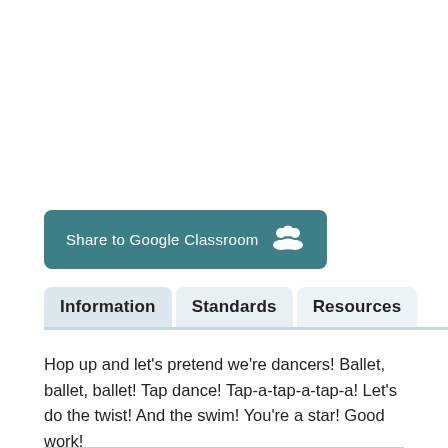[Figure (screenshot): Share to Google Classroom button with teal background and group/people icon]
Information  Standards  Resources
Hop up and let's pretend we're dancers! Ballet, ballet, ballet! Tap dance! Tap-a-tap-a-tap-a! Let's do the twist! And the swim! You're a star! Good work!